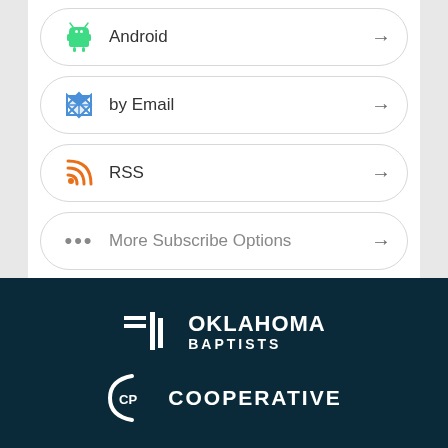Android
by Email
RSS
More Subscribe Options
[Figure (logo): Oklahoma Baptists logo in white on dark navy background]
[Figure (logo): Cooperative Program logo partial - CP arc icon with COOPERATIVE text in white on dark navy]